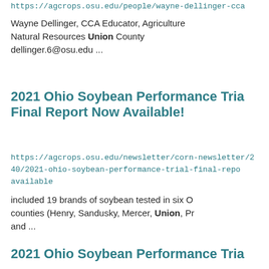https://agcrops.osu.edu/people/wayne-dellinger-cca
Wayne Dellinger, CCA Educator, Agriculture Natural Resources Union County dellinger.6@osu.edu ...
2021 Ohio Soybean Performance Trial Final Report Now Available!
https://agcrops.osu.edu/newsletter/corn-newsletter/2021-40/2021-ohio-soybean-performance-trial-final-report-now-available
included 19 brands of soybean tested in six Ohio counties (Henry, Sandusky, Mercer, Union, Pr and ...
2021 Ohio Soybean Performance Trial